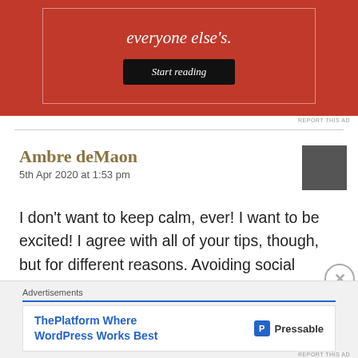[Figure (screenshot): Red advertisement banner with white border, italic white text 'everyone else's.' and a dark 'Start reading' button]
REPORT THIS AD
Ambre deMaon
5th Apr 2020 at 1:53 pm
[Figure (photo): Small dark gray square avatar/profile image]
I don't want to keep calm, ever! I want to be excited! I agree with all of your tips, though, but for different reasons. Avoiding social media because it's tedious, boring and brain-numbing, for example.
Advertisements
[Figure (screenshot): Pressable advertisement: 'ThePlatform Where WordPress Works Best' with Pressable logo]